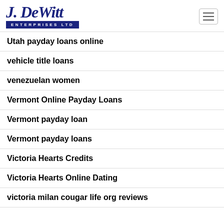[Figure (logo): J. DeWitt Enterprises Ltd logo — script text 'J. DeWitt' above a dark blue bar reading 'ENTERPRISES LTD']
Utah payday loans online
vehicle title loans
venezuelan women
Vermont Online Payday Loans
Vermont payday loan
Vermont payday loans
Victoria Hearts Credits
Victoria Hearts Online Dating
victoria milan cougar life org reviews